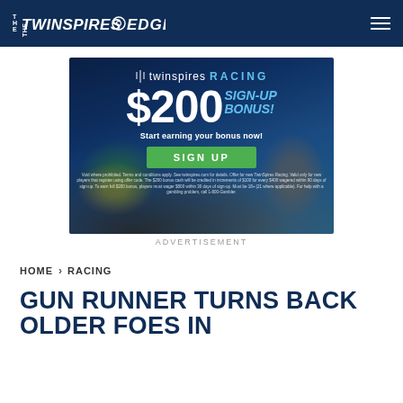THE TWINSPIRES EDGE
[Figure (infographic): TwinSpires Racing $200 Sign-Up Bonus advertisement banner with jockey on horse, green SIGN UP button, and fine print disclaimers.]
ADVERTISEMENT
HOME › RACING
GUN RUNNER TURNS BACK OLDER FOES IN